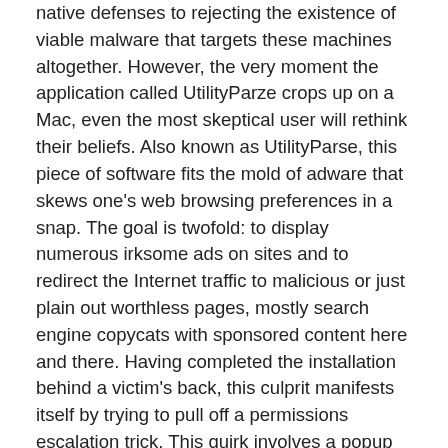native defenses to rejecting the existence of viable malware that targets these machines altogether. However, the very moment the application called UtilityParze crops up on a Mac, even the most skeptical user will rethink their beliefs. Also known as UtilityParse, this piece of software fits the mold of adware that skews one's web browsing preferences in a snap. The goal is twofold: to display numerous irksome ads on sites and to redirect the Internet traffic to malicious or just plain out worthless pages, mostly search engine copycats with sponsored content here and there. Having completed the installation behind a victim's back, this culprit manifests itself by trying to pull off a permissions escalation trick. This quirk involves a popup request that says, "UtilityParze will damage your computer" or "UtilityParse wants access to control Safari.app". The dialog goes on to say that "allowing control will provide access to documents and data in